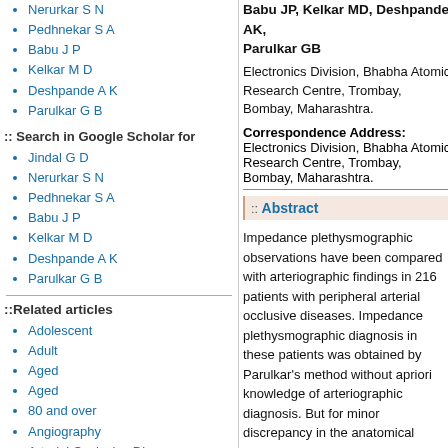Nerurkar S N
Pedhnekar S A
Babu J P
Kelkar M D
Deshpande A K
Parulkar G B
:: Search in Google Scholar for
Jindal G D
Nerurkar S N
Pedhnekar S A
Babu J P
Kelkar M D
Deshpande A K
Parulkar G B
::Related articles
Adolescent
Adult
Aged
Aged
80 and over
Angiography
Arterial Occlusive Diseases
diagnosis
radiography
Extremities
blood supply
Female
Human
Male
Babu JP, Kelkar MD, Deshpande AK, Parulkar GB
Electronics Division, Bhabha Atomic Research Centre, Trombay, Bombay, Maharashtra.
Correspondence Address:
Electronics Division, Bhabha Atomic Research Centre, Trombay, Bombay, Maharashtra.
:: Abstract
Impedance plethysmographic observations have been compared with arteriographic findings in 216 patients with peripheral arterial occlusive diseases. Impedance plethysmographic diagnosis in these patients was obtained by Parulkar's method without apriori knowledge of arteriographic diagnosis. But for minor discrepancy in the anatomical location of the block in few patients, impedance plethysmographic observations correlated very well with arteriographic findings. Impedance plethysmographic diagnosis was found to be correct in 312, wrong in 53, false negatives